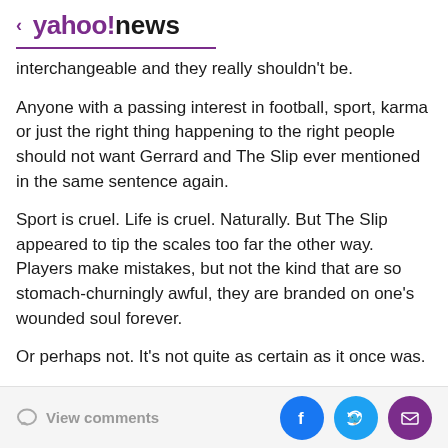< yahoo!news
interchangeable and they really shouldn't be.
Anyone with a passing interest in football, sport, karma or just the right thing happening to the right people should not want Gerrard and The Slip ever mentioned in the same sentence again.
Sport is cruel. Life is cruel. Naturally. But The Slip appeared to tip the scales too far the other way. Players make mistakes, but not the kind that are so stomach-churningly awful, they are branded on one's wounded soul forever.
Or perhaps not. It's not quite as certain as it once was.
View comments